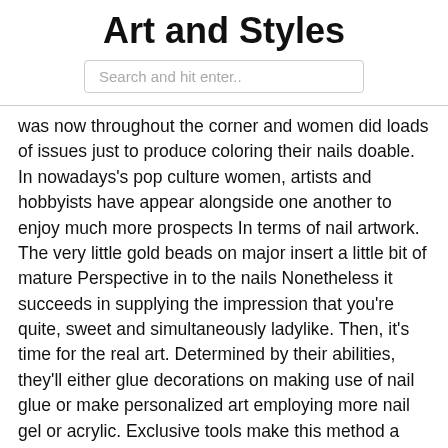Art and Styles
Search and hit enter..
was now throughout the corner and women did loads of issues just to produce coloring their nails doable. In nowadays's pop culture women, artists and hobbyists have appear alongside one another to enjoy much more prospects In terms of nail artwork. The very little gold beads on major insert a little bit of mature Perspective in to the nails Nonetheless it succeeds in supplying the impression that you're quite, sweet and simultaneously ladylike. Then, it's time for the real art. Determined by their abilities, they'll either glue decorations on making use of nail glue or make personalized art employing more nail gel or acrylic. Exclusive tools make this method a good deal much easier, as does a sluggish placing solution. Swarovski kicked off Season five of NTNA by getting our Leading 24 in the Halloween spirit. Each and every nail artist was asked to produce artwork impressed by their favorite witch. Short nails are so easier to maintain. My nails are pretty brittle, so I understand the fight of not having the ability to improve them out. It's out with the